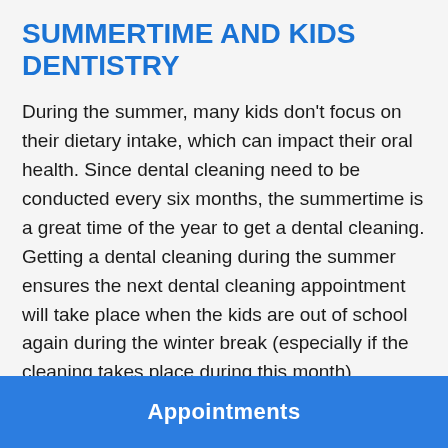SUMMERTIME AND KIDS DENTISTRY
During the summer, many kids don't focus on their dietary intake, which can impact their oral health. Since dental cleaning need to be conducted every six months, the summertime is a great time of the year to get a dental cleaning. Getting a dental cleaning during the summer ensures the next dental cleaning appointment will take place when the kids are out of school again during the winter break (especially if the cleaning takes place during this month).
Appointments